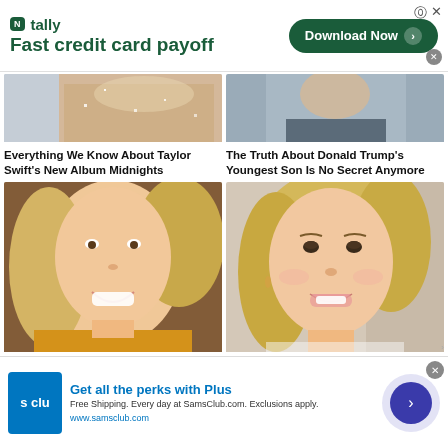[Figure (screenshot): Tally app advertisement banner: 'Fast credit card payoff' with Download Now button]
[Figure (photo): Cropped photo of Taylor Swift in sparkly dress]
[Figure (photo): Cropped photo of Donald Trump's son]
Everything We Know About Taylor Swift's New Album Midnights
The Truth About Donald Trump's Youngest Son Is No Secret Anymore
[Figure (photo): Smiling blonde woman with wavy hair in mustard yellow top outdoors]
[Figure (photo): Ivanka Trump smiling, blonde hair, wearing gold earrings]
[Figure (screenshot): Sam's Club advertisement: Get all the perks with Plus. Free Shipping. Every day at SamsClub.com. Exclusions apply. www.samsclub.com]